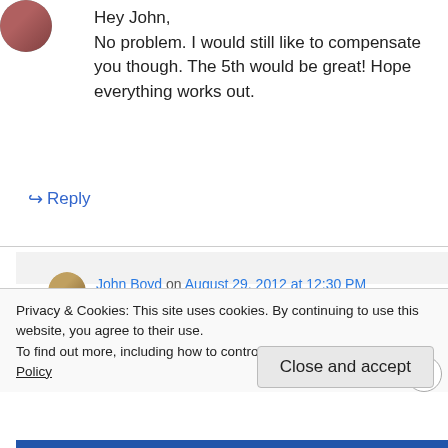[Figure (photo): Small circular avatar photo of a woman at top left]
Hey John,
No problem. I would still like to compensate you though. The 5th would be great! Hope everything works out.
↳ Reply
John Boyd on August 29, 2012 at 12:30 PM
Great see you Wednesday 9am. Park
Privacy & Cookies: This site uses cookies. By continuing to use this website, you agree to their use.
To find out more, including how to control cookies, see here: Cookie Policy
Close and accept